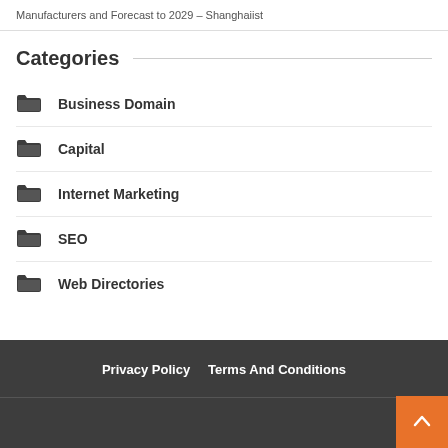Manufacturers and Forecast to 2029 – Shanghaiist
Categories
Business Domain
Capital
Internet Marketing
SEO
Web Directories
Privacy Policy   Terms And Conditions